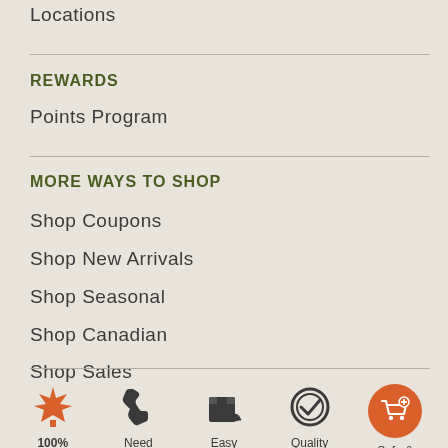Locations
REWARDS
Points Program
MORE WAYS TO SHOP
Shop Coupons
Shop New Arrivals
Shop Seasonal
Shop Canadian
Shop Sales
[Figure (infographic): Row of five icons: Canadian maple leaf (100%), phone (Need), box/shipping (Easy), checkmark circle (Quality), orange shopping cart circle (Safe &)]